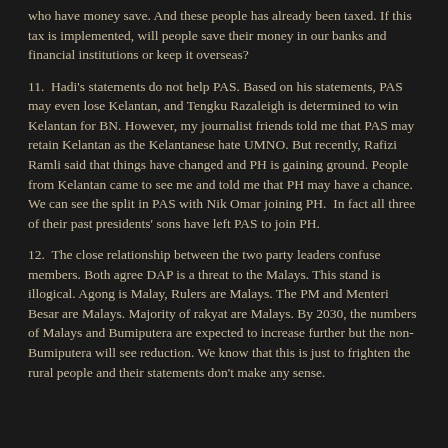who have money save. And these people has already been taxed. If this tax is implemented, will people save their money in our banks and financial institutions or keep it overseas?
11.  Hadi's statements do not help PAS. Based on his statements, PAS may even lose Kelantan, and Tengku Razaleigh is determined to win Kelantan for BN. However, my journalist friends told me that PAS may retain Kelantan as the Kelantanese hate UMNO. But recently, Rafizi Ramli said that things have changed and PH is gaining ground. People from Kelantan came to see me and told me that PH may have a chance. We can see the split in PAS with Nik Omar joining PH.  In fact all three of their past presidents' sons have left PAS to join PH.
12.  The close relationship between the two party leaders confuse members. Both agree DAP is a threat to the Malays. This stand is illogical. Agong is Malay, Rulers are Malays. The PM and Menteri Besar are Malays. Majority of rakyat are Malays. By 2030, the numbers of Malays and Bumiputera are expected to increase further but the non-Bumiputera will see reduction. We know that this is just to frighten the rural people and their statements don't make any sense.